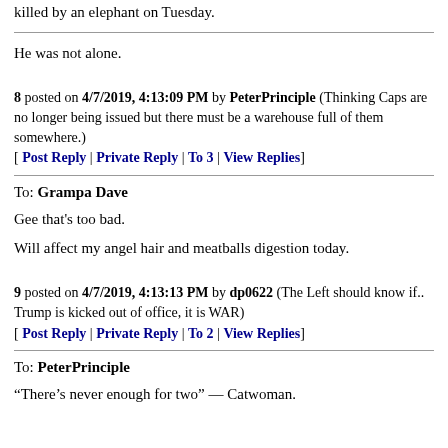killed by an elephant on Tuesday.
He was not alone.
8 posted on 4/7/2019, 4:13:09 PM by PeterPrinciple (Thinking Caps are no longer being issued but there must be a warehouse full of them somewhere.) [ Post Reply | Private Reply | To 3 | View Replies]
To: Grampa Dave
Gee that's too bad.
Will affect my angel hair and meatballs digestion today.
9 posted on 4/7/2019, 4:13:13 PM by dp0622 (The Left should know if.. Trump is kicked out of office, it is WAR) [ Post Reply | Private Reply | To 2 | View Replies]
To: PeterPrinciple
“There’s never enough for two” — Catwoman.